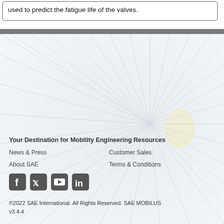used to predict the fatigue life of the valves.
Your Destination for Mobility Engineering Resources
News & Press
Customer Sales
About SAE
Terms & Conditions
[Figure (illustration): Social media icons: Facebook, Twitter, YouTube, LinkedIn]
©2022 SAE International. All Rights Reserved. SAE MOBILUS v3.4.4